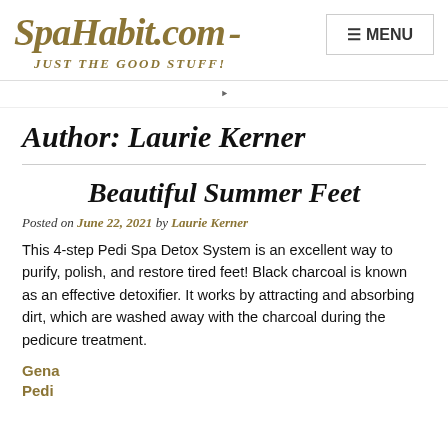SpaHabit.com - JUST THE GOOD STUFF!
Author: Laurie Kerner
Beautiful Summer Feet
Posted on June 22, 2021 by Laurie Kerner
This 4-step Pedi Spa Detox System is an excellent way to purify, polish, and restore tired feet! Black charcoal is known as an effective detoxifier. It works by attracting and absorbing dirt, which are washed away with the charcoal during the pedicure treatment.
Gena Pedi